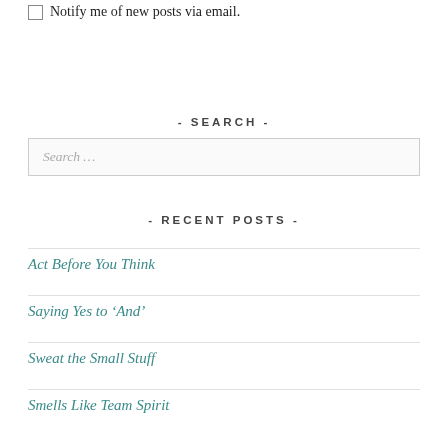Notify me of new posts via email.
- SEARCH -
Search …
- RECENT POSTS -
Act Before You Think
Saying Yes to ‘And’
Sweat the Small Stuff
Smells Like Team Spirit